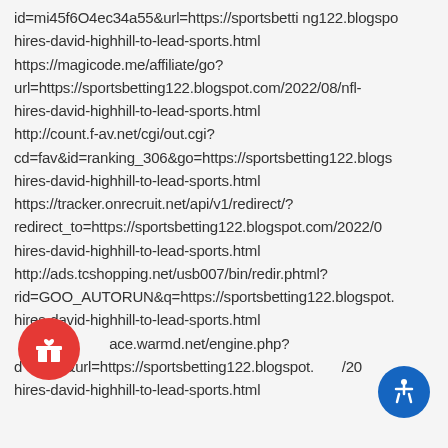id=mi45f6O4ec34a55&url=https://sportsbetting122.blogspo hires-david-highhill-to-lead-sports.html https://magicode.me/affiliate/go? url=https://sportsbetting122.blogspot.com/2022/08/nfl-hires-david-highhill-to-lead-sports.html http://count.f-av.net/cgi/out.cgi? cd=fav&id=ranking_306&go=https://sportsbetting122.blogs hires-david-highhill-to-lead-sports.html https://tracker.onrecruit.net/api/v1/redirect/? redirect_to=https://sportsbetting122.blogspot.com/2022/0 hires-david-highhill-to-lead-sports.html http://ads.tcshopping.net/usb007/bin/redir.phtml? rid=GOO_AUTORUN&q=https://sportsbetting122.blogspot. hires-david-highhill-to-lead-sports.html ace.warmd.net/engine.php? d direct&url=https://sportsbetting122.blogspot./20 hires-david-highhill-to-lead-sports.html
[Figure (other): Red circular gift/reward button with white gift box icon]
[Figure (other): Blue circular accessibility button with white wheelchair icon]